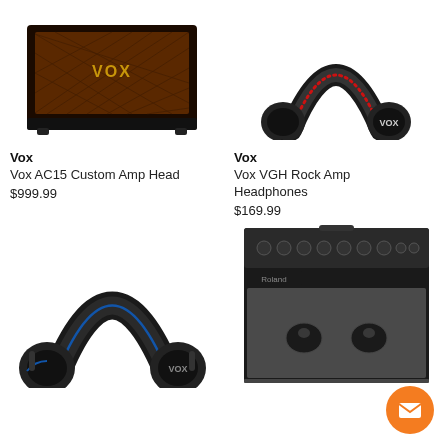[Figure (photo): Vox AC15 Custom Amp Head - guitar amplifier with brown diamond grille fabric and black chassis]
[Figure (photo): Vox VGH Rock Amp Headphones - black over-ear headphones with red accent and VOX branding]
Vox
Vox AC15 Custom Amp Head
$999.99
Vox
Vox VGH Rock Amp Headphones
$169.99
[Figure (photo): Vox over-ear headphones - large black headphones with blue accent and VOX branding]
[Figure (photo): Roland guitar amplifier combo - large black amp with grey grille and Roland logo]
[Figure (illustration): Orange circular chat/email button with envelope icon]